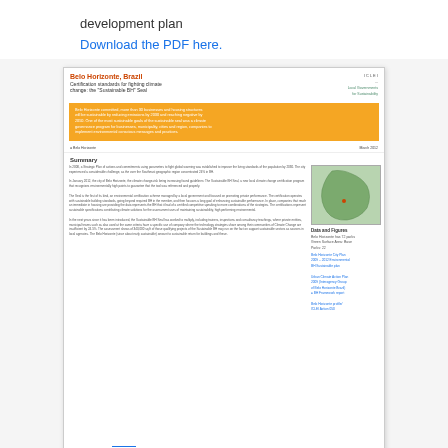development plan
Download the PDF here.
[Figure (screenshot): Thumbnail of a PDF document titled 'Belo Horizonte, Brazil – Certification standards for fighting climate change: the Sustainable BH Seal', produced by ICLEI and UN-Habitat, with an orange header, summary text, and a map of Brazil.]
Belo Horizonte, B
Certification stan
"Sustainable BH"
Download the PD
— Em Português
By using this website, you consent to its use of cookies. Read more
ACCEPT